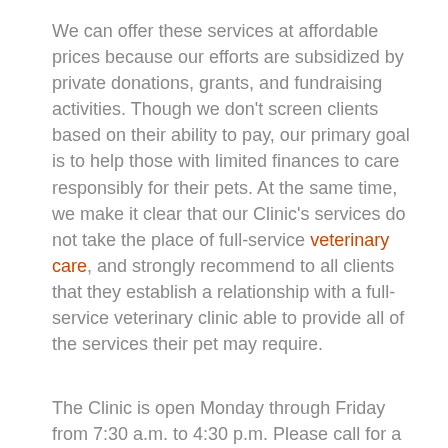We can offer these services at affordable prices because our efforts are subsidized by private donations, grants, and fundraising activities. Though we don't screen clients based on their ability to pay, our primary goal is to help those with limited finances to care responsibly for their pets. At the same time, we make it clear that our Clinic's services do not take the place of full-service veterinary care, and strongly recommend to all clients that they establish a relationship with a full-service veterinary clinic able to provide all of the services their pet may require.
The Clinic is open Monday through Friday from 7:30 a.m. to 4:30 p.m. Please call for a